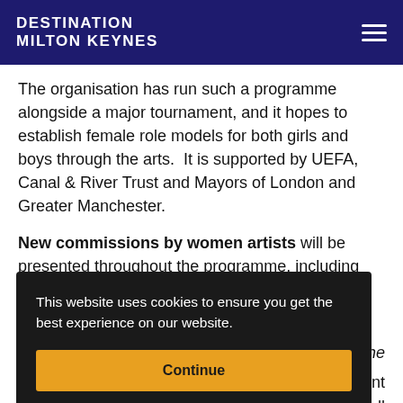DESTINATION MILTON KEYNES
The organisation has run such a programme alongside a major tournament, and it hopes to establish female role models for both girls and boys through the arts.  It is supported by UEFA, Canal & River Trust and Mayors of London and Greater Manchester.
New commissions by women artists will be presented throughout the programme, including an
This website uses cookies to ensure you get the best experience on our website.
Continue
the
ent well
interdisciplinary artist Deborah Goatley-Birch.